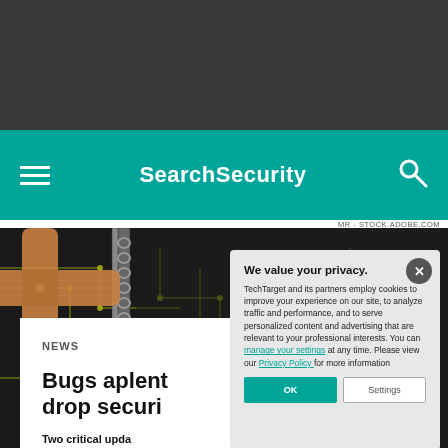SearchSecurity
MR - STOCK.ADOBE.COM
[Figure (photo): Circuit board with bandages (band-aids) placed on it, representing security patches or vulnerabilities]
NEWS
Bugs aplenty drop securi
Two critical updates flaws in F5's Big-I holes are among t
We value your privacy. TechTarget and its partners employ cookies to improve your experience on our site, to analyze traffic and performance, and to serve personalized content and advertising that are relevant to your professional interests. You can manage your settings at any time. Please view our Privacy Policy for more information